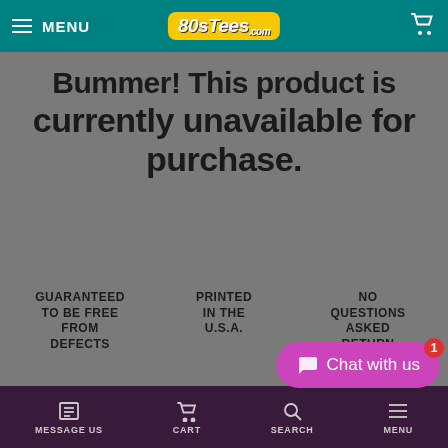MENU | 80sTees.com | [cart icon]
Bummer! This product is currently unavailable for purchase.
GUARANTEED TO BE FREE FROM DEFECTS
PRINTED IN THE U.S.A.
NO QUESTIONS ASKED RETURN POLICY
[Figure (illustration): Chat with us button (magenta rounded rectangle with chat icon and red notification badge)]
MESSAGE US | CART | SEARCH | MENU